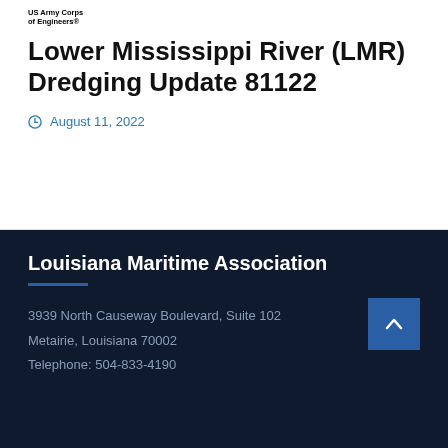US Army Corps of Engineers®
Lower Mississippi River (LMR) Dredging Update 81122
August 11, 2022
Louisiana Maritime Association
3939 North Causeway Boulevard, Suite 102
Metairie, Louisiana 70002
Telephone: 504-833-4190